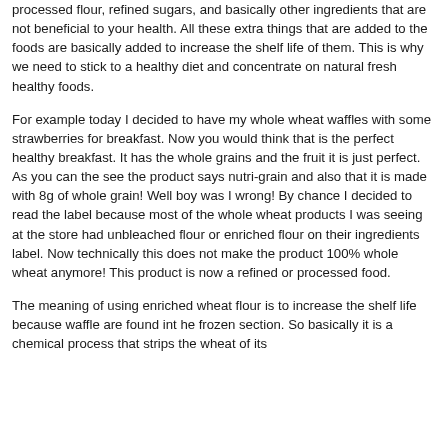processed flour, refined sugars, and basically other ingredients that are not beneficial to your health. All these extra things that are added to the foods are basically added to increase the shelf life of them. This is why we need to stick to a healthy diet and concentrate on natural fresh healthy foods.
For example today I decided to have my whole wheat waffles with some strawberries for breakfast. Now you would think that is the perfect healthy breakfast. It has the whole grains and the fruit it is just perfect. As you can the see the product says nutri-grain and also that it is made with 8g of whole grain! Well boy was I wrong! By chance I decided to read the label because most of the whole wheat products I was seeing at the store had unbleached flour or enriched flour on their ingredients label. Now technically this does not make the product 100% whole wheat anymore! This product is now a refined or processed food.
The meaning of using enriched wheat flour is to increase the shelf life because waffle are found int he frozen section. So basically it is a chemical process that strips the wheat of its